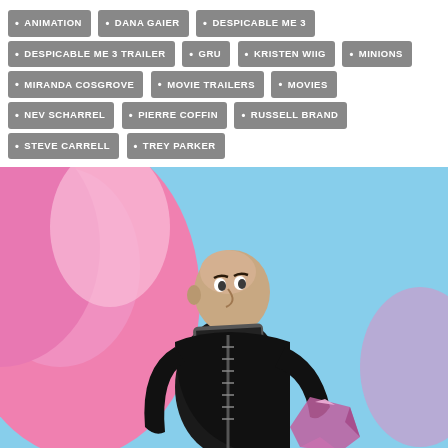ANIMATION • DANA GAIER • DESPICABLE ME 3 • DESPICABLE ME 3 TRAILER • GRU • KRISTEN WIIG • MINIONS • MIRANDA COSGROVE • MOVIE TRAILERS • MOVIES • NEV SCHARREL • PIERRE COFFIN • RUSSELL BRAND • STEVE CARRELL • TREY PARKER
[Figure (photo): Animated character Gru from Despicable Me 3, wearing black suit with striped scarf, holding a pink gem, against a pink and blue background]
ANIMATION  MOVIES  TRAILER TIME  WALL ART